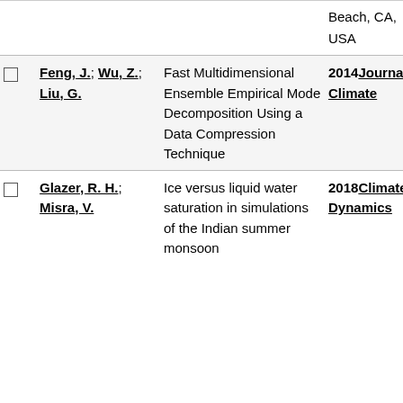|  | Author | Title | Year/Journal | Num |
| --- | --- | --- | --- | --- |
|  | Beach, CA, USA |  |  |  |
| ☐ | Feng, J.; Wu, Z.; Liu, G. | Fast Multidimensional Ensemble Empirical Mode Decomposition Using a Data Compression Technique | 2014 Journal of Climate | 27 |
| ☐ | Glazer, R. H.; Misra, V. | Ice versus liquid water saturation in simulations of the Indian summer monsoon | 2018 Climate Dynamics |  |